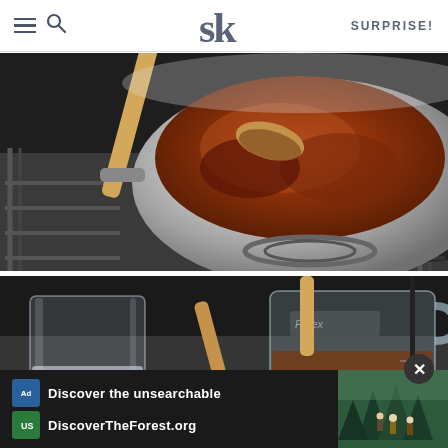SK logo with hamburger menu, search icon, and SURPRISE! navigation
[Figure (photo): A stainless steel saucepan on a gas stovetop containing cocoa powder being stirred with a wooden spoon]
[Figure (photo): A glass measuring cup containing a brown liquid (chocolate mixture) with a wooden spoon, and another clear glass on a kitchen counter]
[Figure (photo): Advertisement banner: Discover the unsearchable - DiscoverTheForest.org with forest imagery showing hikers]